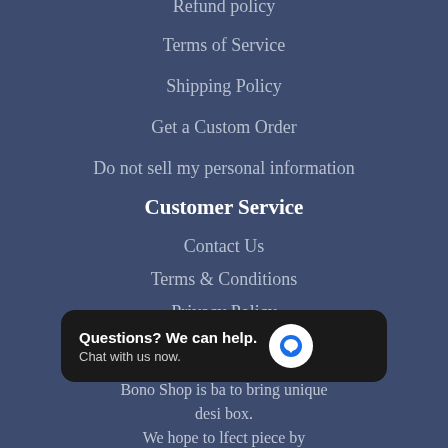Refund policy
Terms of Service
Shipping Policy
Get a Custom Order
Do not sell my personal information
Customer Service
Contact Us
Terms & Conditions
Privacy Policy
About Us
Bono Shop is ba… to bring unique desi… box. We hope to l… fect piece by offering a large variety of rings, necklaces
[Figure (screenshot): Chat widget overlay with text 'Questions? We can help. Chat with us now.' and a blue speech bubble icon on white circle background]